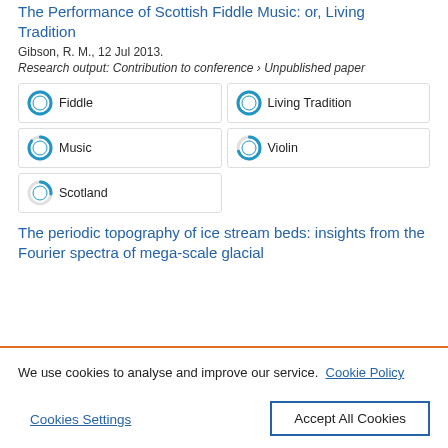The Performance of Scottish Fiddle Music: or, Living Tradition
Gibson, R. M., 12 Jul 2013.
Research output: Contribution to conference › Unpublished paper
Fiddle
Living Tradition
Music
Violin
Scotland
The periodic topography of ice stream beds: insights from the Fourier spectra of mega-scale glacial
We use cookies to analyse and improve our service. Cookie Policy
Cookies Settings
Accept All Cookies